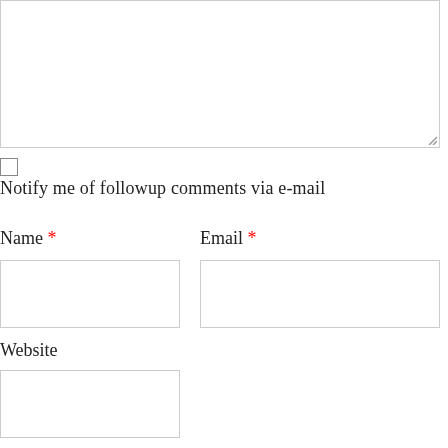[Figure (screenshot): Textarea input box with resize handle at bottom right]
Notify me of followup comments via e-mail
Name *
[Figure (screenshot): Name input text field]
Email *
[Figure (screenshot): Email input text field]
Website
[Figure (screenshot): Website input text field]
Save my name, email, and website in this browser for the next time I comment.
CAPTCHA Image
[Figure (other): Refresh CAPTCHA icon button]
[Figure (other): Back to top button with up arrow]